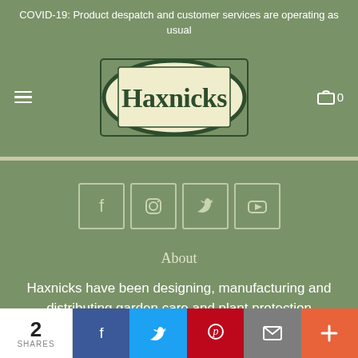COVID-19: Product despatch and customer services are operating as usual
[Figure (logo): Haxnicks brand logo — dark green oval with cream/yellow background inside a rectangular border, text 'Haxnicks' in dark green serif font]
[Figure (infographic): Row of four social media icon buttons (Facebook, Instagram, Twitter, YouTube) with light border on sage green background]
About
Haxnicks have been designing, manufacturing and distributing garden care and plant protection
2 SHARES
[Figure (infographic): Social share bar at bottom: count '2 SHARES', then Facebook (blue), Twitter (light blue), Pinterest (red), Email (grey), Plus (orange) buttons]